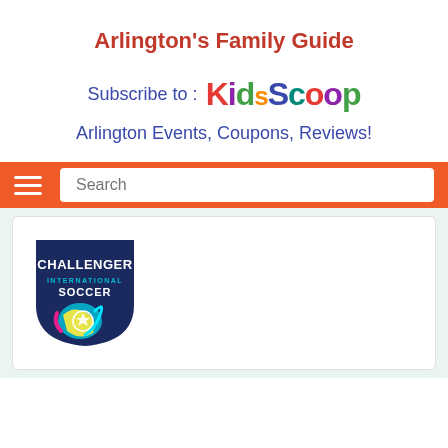Arlington's Family Guide
Subscribe to : KidsScoop
Arlington Events, Coupons, Reviews!
[Figure (screenshot): Orange navigation bar with hamburger menu icon and Search input field]
[Figure (logo): Challenger International Soccer logo - shield shape with dark blue background, colorful soccer-related graphics]